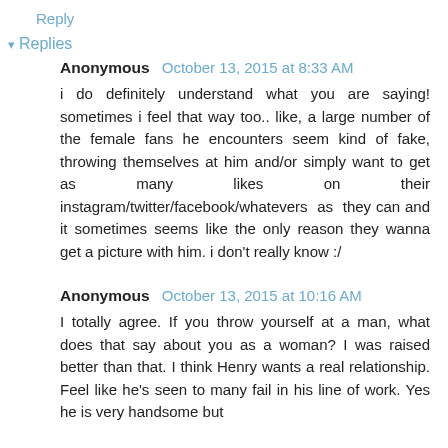Reply
▾ Replies
Anonymous  October 13, 2015 at 8:33 AM
i do definitely understand what you are saying! sometimes i feel that way too.. like, a large number of the female fans he encounters seem kind of fake, throwing themselves at him and/or simply want to get as many likes on their instagram/twitter/facebook/whatevers as they can and it sometimes seems like the only reason they wanna get a picture with him. i don't really know :/
Anonymous  October 13, 2015 at 10:16 AM
I totally agree. If you throw yourself at a man, what does that say about you as a woman? I was raised better than that. I think Henry wants a real relationship. Feel like he's seen to many fail in his line of work. Yes he is very handsome but